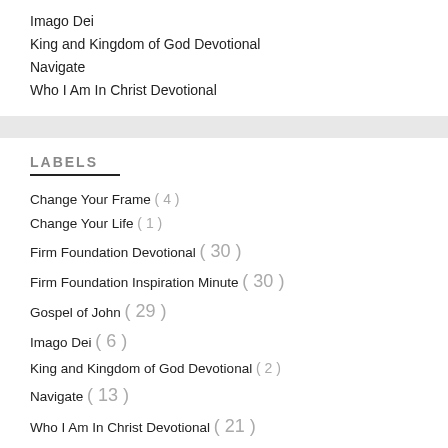Imago Dei
King and Kingdom of God Devotional
Navigate
Who I Am In Christ Devotional
LABELS
Change Your Frame ( 4 )
Change Your Life ( 1 )
Firm Foundation Devotional ( 30 )
Firm Foundation Inspiration Minute ( 30 )
Gospel of John ( 29 )
Imago Dei ( 6 )
King and Kingdom of God Devotional ( 2 )
Navigate ( 13 )
Who I Am In Christ Devotional ( 21 )